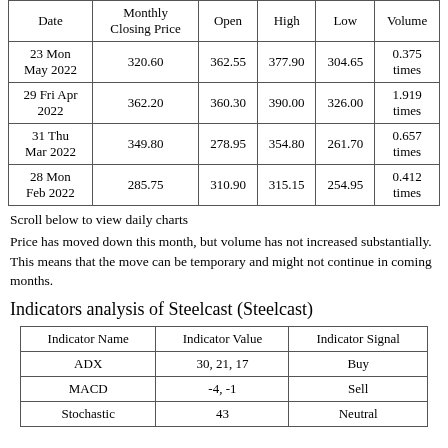| Date | Monthly Closing Price | Open | High | Low | Volume |
| --- | --- | --- | --- | --- | --- |
| 23 Mon May 2022 | 320.60 | 362.55 | 377.90 | 304.65 | 0.375 times |
| 29 Fri Apr 2022 | 362.20 | 360.30 | 390.00 | 326.00 | 1.919 times |
| 31 Thu Mar 2022 | 349.80 | 278.95 | 354.80 | 261.70 | 0.657 times |
| 28 Mon Feb 2022 | 285.75 | 310.90 | 315.15 | 254.95 | 0.412 times |
Scroll below to view daily charts
Price has moved down this month, but volume has not increased substantially. This means that the move can be temporary and might not continue in coming months.
Indicators analysis of Steelcast (Steelcast)
| Indicator Name | Indicator Value | Indicator Signal |
| --- | --- | --- |
| ADX | 30, 21, 17 | Buy |
| MACD | -4, -1 | Sell |
| Stochastic | 43 | Neutral |